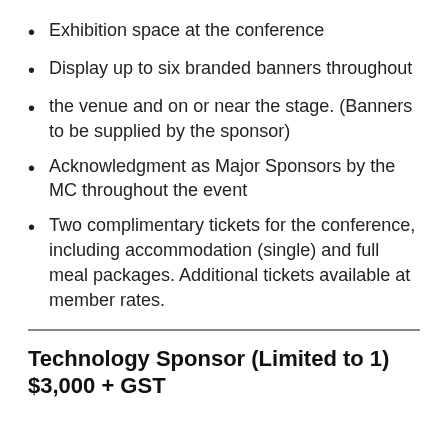Exhibition space at the conference
Display up to six branded banners throughout
the venue and on or near the stage. (Banners to be supplied by the sponsor)
Acknowledgment as Major Sponsors by the MC throughout the event
Two complimentary tickets for the conference, including accommodation (single) and full meal packages. Additional tickets available at member rates.
Technology Sponsor (Limited to 1)
$3,000 + GST